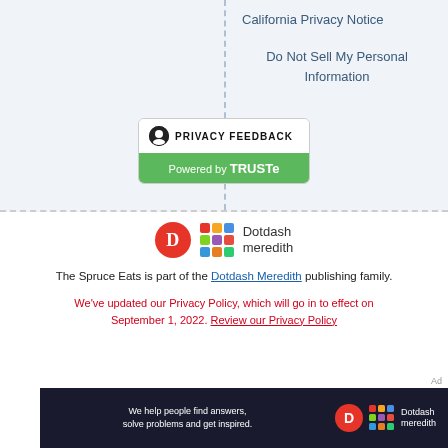the spruce Eats
California Privacy Notice
Do Not Sell My Personal Information
[Figure (other): TRUSTe Privacy Feedback widget with green 'Powered by TRUSTe' button]
[Figure (logo): Dotdash Meredith logo with red D circle and colorful grid pattern]
The Spruce Eats is part of the Dotdash Meredith publishing family.
We've updated our Privacy Policy, which will go in to effect on September 1, 2022. Review our Privacy Policy
Ad
[Figure (other): Dark background advertisement banner: We help people find answers, solve problems and get inspired. Dotdash meredith logo.]